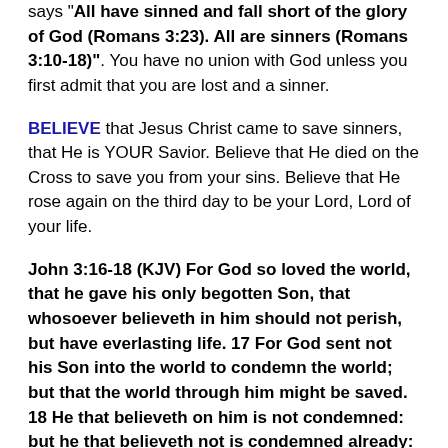says "All have sinned and fall short of the glory of God (Romans 3:23). All are sinners (Romans 3:10-18)". You have no union with God unless you first admit that you are lost and a sinner.
BELIEVE that Jesus Christ came to save sinners, that He is YOUR Savior. Believe that He died on the Cross to save you from your sins. Believe that He rose again on the third day to be your Lord, Lord of your life.
John 3:16-18 (KJV) For God so loved the world, that he gave his only begotten Son, that whosoever believeth in him should not perish, but have everlasting life. 17 For God sent not his Son into the world to condemn the world; but that the world through him might be saved. 18 He that believeth on him is not condemned: but he that believeth not is condemned already: because he hath not believed in